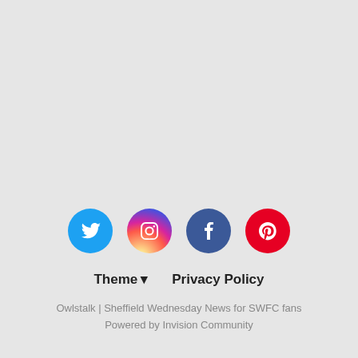[Figure (infographic): Four social media icons in circles: Twitter (blue), Instagram (gradient pink/purple), Facebook (dark blue), Pinterest (red)]
Theme ▾   Privacy Policy
Owlstalk | Sheffield Wednesday News for SWFC fans
Powered by Invision Community